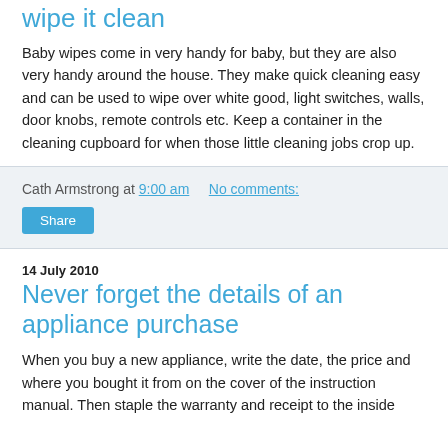wipe it clean
Baby wipes come in very handy for baby, but they are also very handy around the house. They make quick cleaning easy and can be used to wipe over white good, light switches, walls, door knobs, remote controls etc. Keep a container in the cleaning cupboard for when those little cleaning jobs crop up.
Cath Armstrong at 9:00 am    No comments:
Share
14 July 2010
Never forget the details of an appliance purchase
When you buy a new appliance, write the date, the price and where you bought it from on the cover of the instruction manual. Then staple the warranty and receipt to the inside